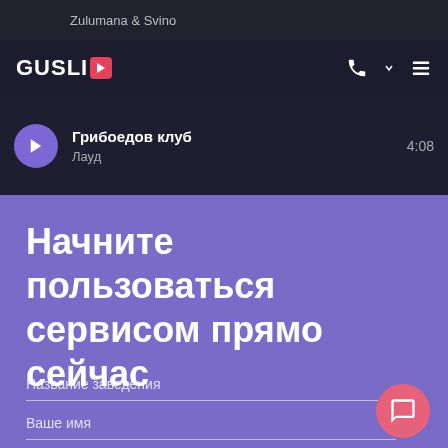Zulumana & Svino
[Figure (screenshot): GUSLIE app logo with red icon in dark navigation bar, phone and menu icons on the right]
Грибоедов клуб
Лауд
4:08
Начните пользоваться сервисом прямо сейчас
Название заведения
Ваше имя
Ваш номер телефона